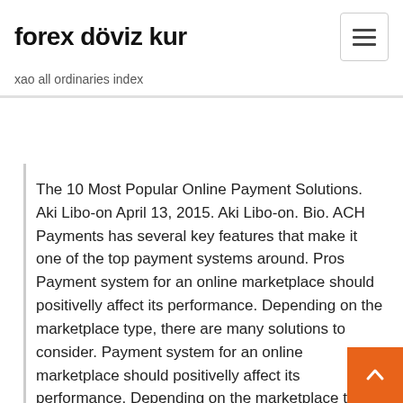forex döviz kur
xao all ordinaries index
The 10 Most Popular Online Payment Solutions. Aki Libo-on April 13, 2015. Aki Libo-on. Bio. ACH Payments has several key features that make it one of the top payment systems around. Pros Payment system for an online marketplace should positivelly affect its performance. Depending on the marketplace type, there are many solutions to consider. Payment system for an online marketplace should positivelly affect its performance. Depending on the marketplace type, there are many solutions to consider. There's no denying that when it comes to accepting and receiving payments, PayPal is the reigning champion. In fact, it's the de facto online payment solution for online customers, freelancers While features will vary from system to system, online payment software should contain some or all of the following capabilities: Customers shop in the brick-and-mortar or visit their online marketplace and inventory will be the same across both. Business owners